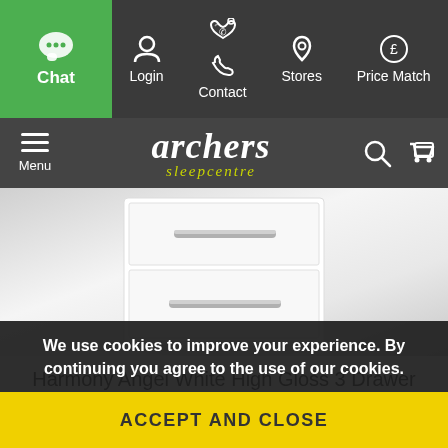Chat | Login | Contact | Stores | Price Match
[Figure (logo): Archers Sleepcentre logo with menu icon, search icon, and basket icon on dark background]
[Figure (photo): White high gloss bedside cabinet with two drawers and silver bar handles, on gradient grey background]
Harmony Angel White High Gloss 3 Drawer Bedside Cabinet (Flat Packed)
We use cookies to improve your experience. By continuing you agree to the use of our cookies.
ACCEPT AND CLOSE